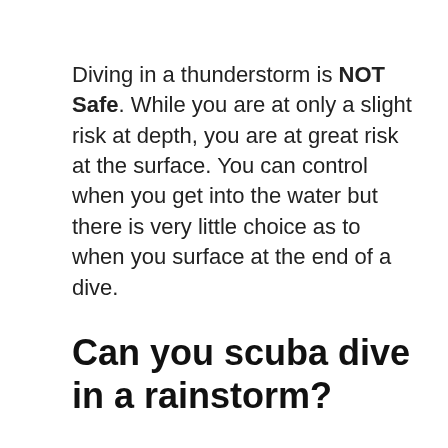Diving in a thunderstorm is NOT Safe. While you are at only a slight risk at depth, you are at great risk at the surface. You can control when you get into the water but there is very little choice as to when you surface at the end of a dive.
Can you scuba dive in a rainstorm?
It is quite obvious: avoid diving or being in the water during a storm. It’s hard not to be the tallest object around if you’re in the water. If you surface in the middle of a storm, it might be reasonable to consider continuing to dive between 6 and 9m...